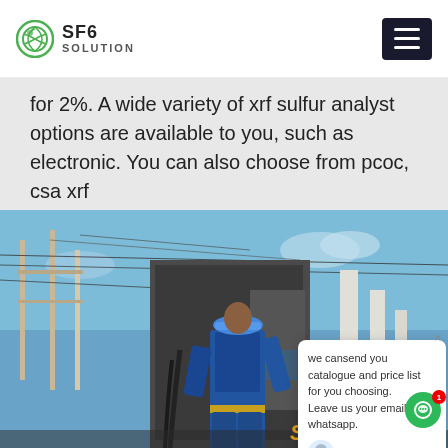SF6 SOLUTION
for 2%. A wide variety of xrf sulfur analyst options are available to you, such as electronic. You can also choose from pcoc, csa xrf
[Figure (photo): Industrial electrical substation scene: a worker in blue overalls and blue hard hat looking up at high-voltage equipment and power lines against a blue sky. SF6China watermark in orange-yellow at bottom right.]
we cansend you catalogue and price list for you choosing. Leave us your email or whatsapp.
SF6 Expert   justnow
Write